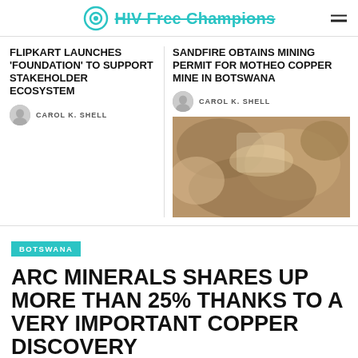HIV Free Champions
FLIPKART LAUNCHES 'FOUNDATION' TO SUPPORT STAKEHOLDER ECOSYSTEM
CAROL K. SHELL
SANDFIRE OBTAINS MINING PERMIT FOR MOTHEO COPPER MINE IN BOTSWANA
CAROL K. SHELL
[Figure (photo): Close-up photo of copper ore or rocky mineral surface in brown/tan tones]
BOTSWANA
ARC MINERALS SHARES UP MORE THAN 25% THANKS TO A VERY IMPORTANT COPPER DISCOVERY